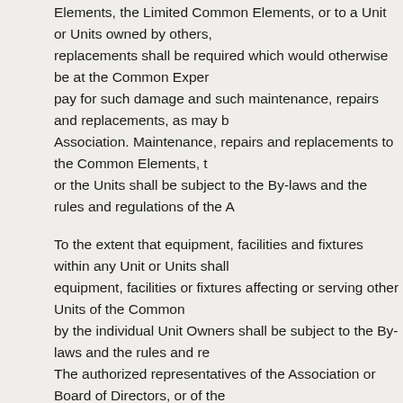Elements, the Limited Common Elements, or to a Unit or Units owned by others, replacements shall be required which would otherwise be at the Common Expe pay for such damage and such maintenance, repairs and replacements, as may b Association. Maintenance, repairs and replacements to the Common Elements, t or the Units shall be subject to the By-laws and the rules and regulations of the A
To the extent that equipment, facilities and fixtures within any Unit or Units shall equipment, facilities or fixtures affecting or serving other Units of the Common by the individual Unit Owners shall be subject to the By-laws and the rules and re The authorized representatives of the Association or Board of Directors, or of th for the Property, shall be entitled to reasonable access to the individual Units as with maintenance, repairs or replacements of or to the Common Elements or Li any equipment, facilities or fixtures affecting or serving other units, the Commo Common Elements.
Each Unit Owner shall be responsible for the maintenance, repair and replaceme and also the doors leading to the Limited Common Elements.
13. DECORATING: Each Unit Owner shall furnish and be responsible for, at his ow decorating within his own Unit from time to time, including but not limited to pa